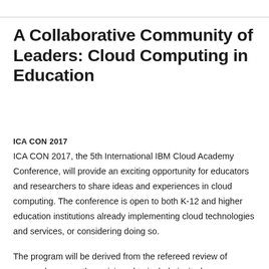A Collaborative Community of Leaders: Cloud Computing in Education
ICA CON 2017
ICA CON 2017, the 5th International IBM Cloud Academy Conference, will provide an exciting opportunity for educators and researchers to share ideas and experiences in cloud computing. The conference is open to both K-12 and higher education institutions already implementing cloud technologies and services, or considering doing so.
The program will be derived from the refereed review of proposals, presently envisioned to include invited